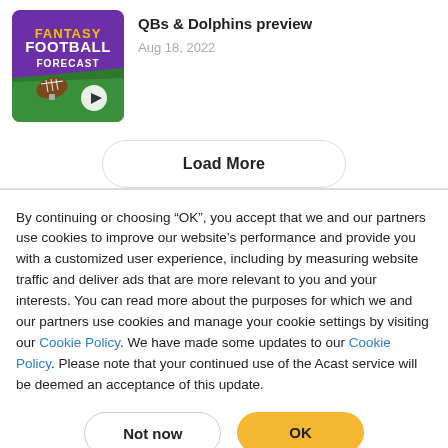[Figure (illustration): Fantasy Football Forecast podcast cover art thumbnail with football on a purple and yellow background]
QBs & Dolphins preview
Aug 18, 2022
Load More
By continuing or choosing “OK”, you accept that we and our partners use cookies to improve our website’s performance and provide you with a customized user experience, including by measuring website traffic and deliver ads that are more relevant to you and your interests. You can read more about the purposes for which we and our partners use cookies and manage your cookie settings by visiting our Cookie Policy. We have made some updates to our Cookie Policy. Please note that your continued use of the Acast service will be deemed an acceptance of this update.
Not now
OK